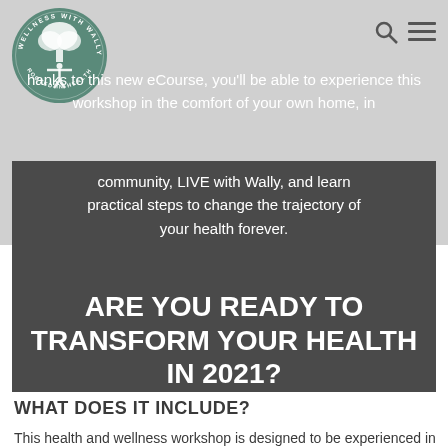[Figure (logo): Wellness with Wally circular logo featuring a tree with a person figure, text reads 'WELLNESS WITH WALLY' and 'ROOTED IN HEALTH']
hanks to this new eCourse, you'll be able to experience this workshop in the comfort of your own home, in community, LIVE with Wally, and learn practical steps to change the trajectory of your health forever.
ARE YOU READY TO TRANSFORM YOUR HEALTH IN 2021?
WHAT DOES IT INCLUDE?
This health and wellness workshop is designed to be experienced in community.